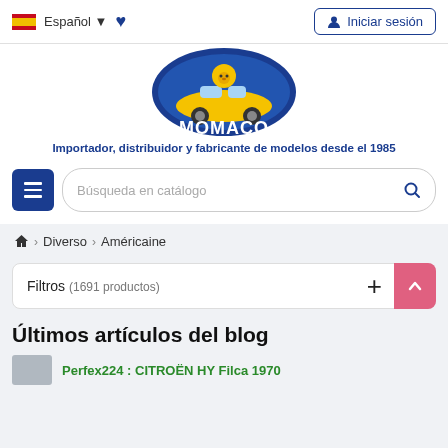Español  |  Iniciar sesión
[Figure (logo): MOMACO logo: yellow bear driving a yellow car inside a blue circular badge, with MOMACO text]
Importador, distribuidor y fabricante de modelos desde el 1985
Búsqueda en catálogo
Diverso > Américaine
Filtros (1691 productos)
Últimos artículos del blog
Perfex224 : CITROËN HY Filca 1970